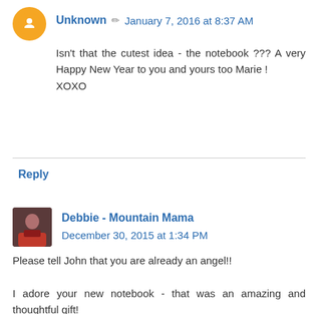Unknown · January 7, 2016 at 8:37 AM
Isn't that the cutest idea - the notebook ??? A very Happy New Year to you and yours too Marie !
XOXO
Reply
Debbie - Mountain Mama · December 30, 2015 at 1:34 PM
Please tell John that you are already an angel!!

I adore your new notebook - that was an amazing and thoughtful gift!

And I'm also drooling over your lantern in the bicycle - how cute is that? I just ordered a new lantern for my garden cottage - is that a special LED candle for outdoors or are they all ok for outdoor use? Just curious....it looks so charming! It's exactly what I wanted to put outside my